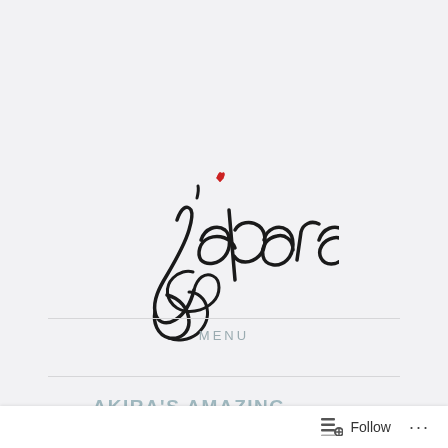[Figure (logo): J'adorais cursive script logo with a small red heart above the apostrophe]
MENU
AKIRA'S AMAZING SS13 COLLECTION – A TRIBUTE TO JAPAN
Follow ...